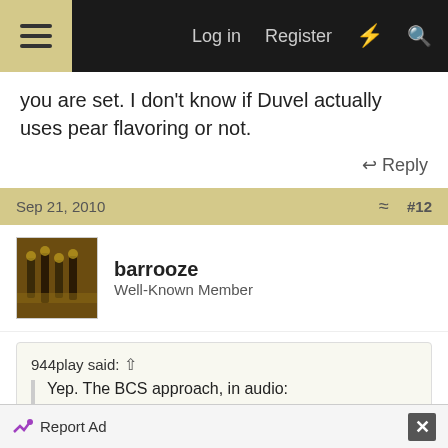Log in  Register
you are set. I don't know if Duvel actually uses pear flavoring or not.
Reply
Sep 21, 2010  #12
barrooze
Well-Known Member
944play said:
Yep. The BCS approach, in audio:
http://thebrewingnetwork.com/shows/The-Jamil-Show/Belgian-Golden-Strong-Ale-The-Jamil-Show-12-31-07
Report Ad